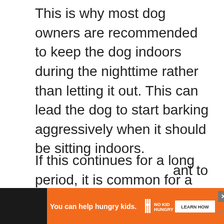This is why most dog owners are recommended to keep the dog indoors during the nighttime rather than letting it out. This can lead the dog to start barking aggressively when it should be sitting indoors.
If this continues for a long period, it is common for a noise complaint to be filed against the dog owner.
You will want to make sure to rectify this issue before you get a warning. In most cases, animal control is not going to come in and remove the d... ...ant to
[Figure (other): Advertisement banner at the bottom. Orange background with text 'You can help hungry kids.' and No Kid Hungry logo with a 'LEARN HOW' button. Dark background on left and right sides with a close button (X) and a mw logo on the right.]